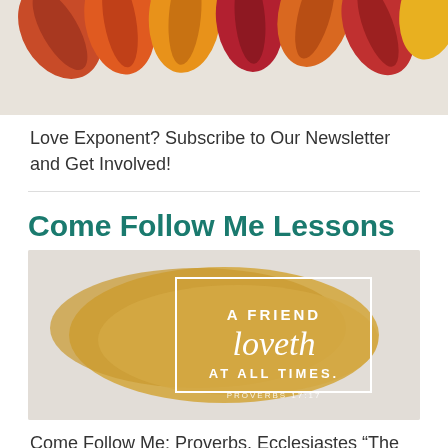[Figure (photo): Colorful autumn leaves arranged on a light background, partially visible at top of page]
Love Exponent? Subscribe to Our Newsletter and Get Involved!
Come Follow Me Lessons
[Figure (illustration): Gold brushstroke background with white text and border: 'A FRIEND loveth AT ALL TIMES. PROVERBS 17:17']
Come Follow Me: Proverbs, Ecclesiastes “The Fear of